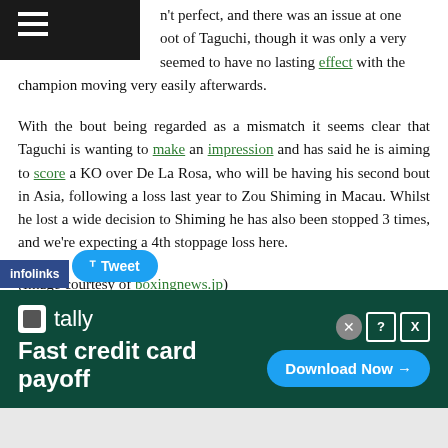n't perfect, and there was an issue at the foot of Taguchi, though it was only a very seemed to have no lasting effect with the champion moving very easily afterwards.
With the bout being regarded as a mismatch it seems clear that Taguchi is wanting to make an impression and has said he is aiming to score a KO over De La Rosa, who will be having his second bout in Asia, following a loss last year to Zou Shiming in Macau. Whilst he lost a wide decision to Shiming he has also been stopped 3 times, and we're expecting a 4th stoppage loss here.
(Image courtesy of boxingnews.jp)
[Figure (screenshot): Social bar with infolinks label, Tweet button, and advertisement banner for Tally showing 'Fast credit card payoff' with Download Now button]